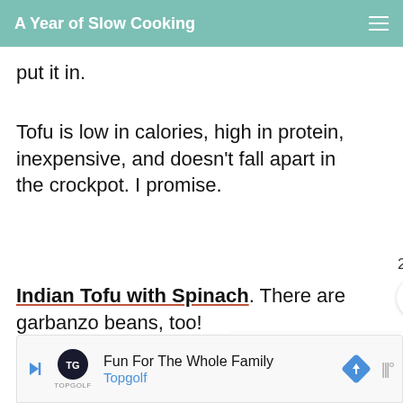A Year of Slow Cooking
put it in.
Tofu is low in calories, high in protein, inexpensive, and doesn't fall apart in the crockpot. I promise.
Indian Tofu with Spinach. There are garbanzo beans, too!
[Figure (other): Heart/like button with teal background, count of 2, and share icon]
[Figure (other): What's Next widget with thumbnail and 'Find a recipe' text]
[Figure (other): Advertisement banner: Fun For The Whole Family - Topgolf]